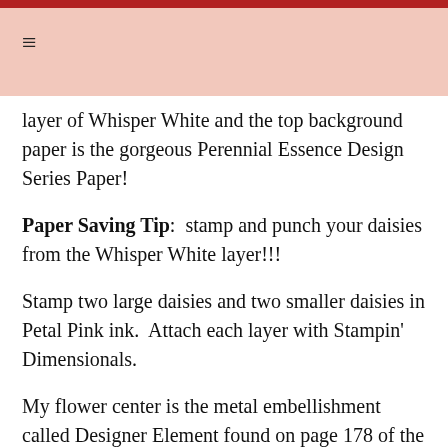≡
layer of Whisper White and the top background paper is the gorgeous Perennial Essence Design Series Paper!
Paper Saving Tip:  stamp and punch your daisies from the Whisper White layer!!!
Stamp two large daisies and two smaller daisies in Petal Pink ink.  Attach each layer with Stampin' Dimensionals.
My flower center is the metal embellishment called Designer Element found on page 178 of the 2019-2020 Annual Catalog.  You get one sheet of these in 3 finishes!  I used the Antique Copper finish.  These are my new favorite embellishments to have on hand!